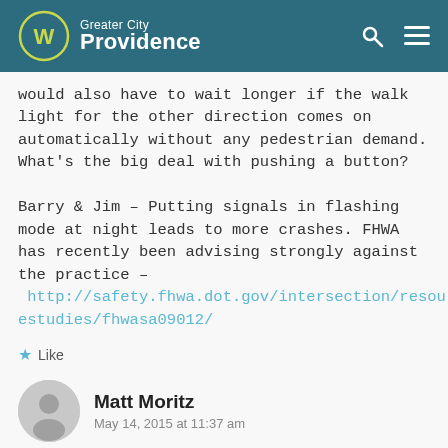Greater City Providence
would also have to wait longer if the walk light for the other direction comes on automatically without any pedestrian demand. What's the big deal with pushing a button?

Barry & Jim – Putting signals in flashing mode at night leads to more crashes. FHWA has recently been advising strongly against the practice – http://safety.fhwa.dot.gov/intersection/resources/casestudies/fhwasa09012/
Like
Matt Moritz
May 14, 2015 at 11:37 am
mp775 :